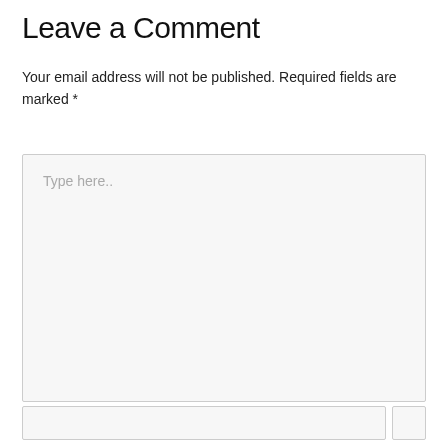Leave a Comment
Your email address will not be published. Required fields are marked *
[Figure (other): Large comment text area input box with placeholder text 'Type here..']
[Figure (other): Name input field at the bottom of the comment form with a small checkbox on the right]